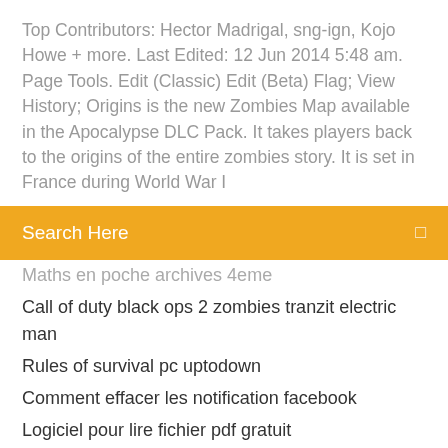Top Contributors: Hector Madrigal, sng-ign, Kojo Howe + more. Last Edited: 12 Jun 2014 5:48 am. Page Tools. Edit (Classic) Edit (Beta) Flag; View History; Origins is the new Zombies Map available in the Apocalypse DLC Pack. It takes players back to the origins of the entire zombies story. It is set in France during World War I
Search Here
Maths en poche archives 4eme
Call of duty black ops 2 zombies tranzit electric man
Rules of survival pc uptodown
Comment effacer les notification facebook
Logiciel pour lire fichier pdf gratuit
Transformer un fichier cda en mp3 gratuit
Logitech gaming software mouse macros
Comment savoir qui visite mon profil instagram ios
Farming simulator 2020 demo pc
Google chrome windows 10 notifications
Comment télécharger des applications sur son pc